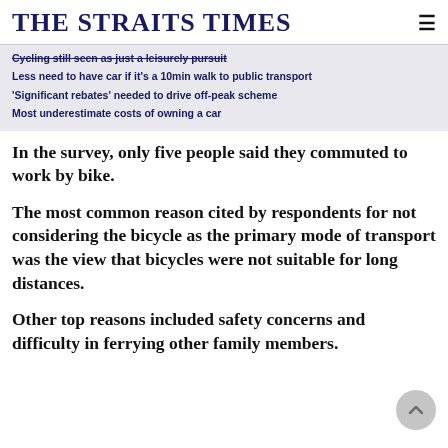THE STRAITS TIMES
Cycling still seen as just a leisurely pursuit
Less need to have car if it's a 10min walk to public transport
'Significant rebates' needed to drive off-peak scheme
Most underestimate costs of owning a car
In the survey, only five people said they commuted to work by bike.
The most common reason cited by respondents for not considering the bicycle as the primary mode of transport was the view that bicycles were not suitable for long distances.
Other top reasons included safety concerns and difficulty in ferrying other family members.